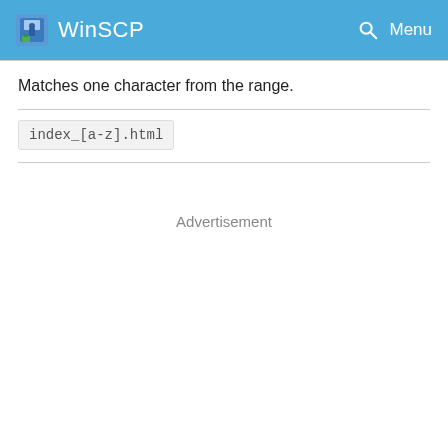WinSCP
Matches one character from the range.
index_[a-z].html
Advertisement